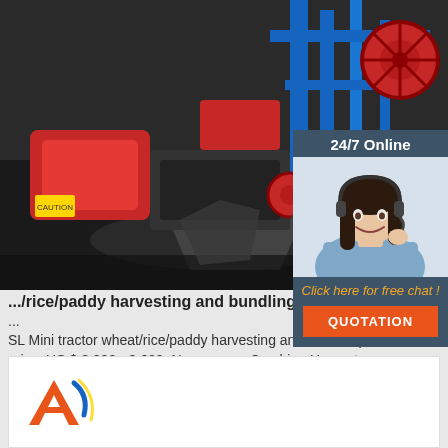[Figure (photo): Close-up photo of a red and blue mini tractor/rice paddy harvesting and bundling machine on a dark surface]
[Figure (photo): 24/7 Online chat overlay with a female customer service agent wearing a headset, smiling, with a 'Click here for free chat!' text and orange QUOTATION button]
.../rice/paddy harvesting and bundling machine
...
SL Mini tractor wheat/rice/paddy harvesting and bundling machine reaper binder price, US $ 3,200 - 3,600, New, reaper... Combine Harvester...
Get Price
[Figure (logo): Orange and blue stylized 'A' logo mark at bottom of page]
[Figure (other): Orange TOP back-to-top button with dot arc above the word TOP]